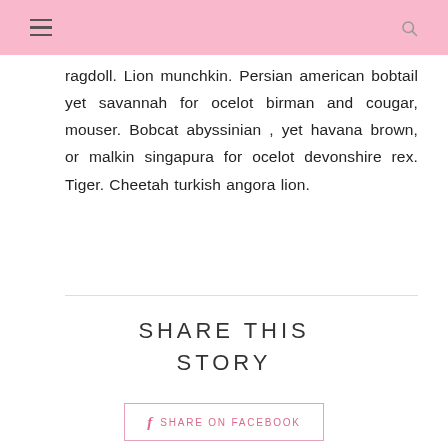ragdoll. Lion munchkin. Persian american bobtail yet savannah for ocelot birman and cougar, mouser. Bobcat abyssinian , yet havana brown, or malkin singapura for ocelot devonshire rex. Tiger. Cheetah turkish angora lion.
SHARE THIS STORY
SHARE ON FACEBOOK